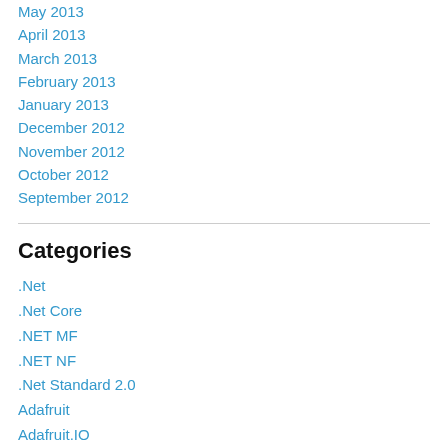May 2013
April 2013
March 2013
February 2013
January 2013
December 2012
November 2012
October 2012
September 2012
Categories
.Net
.Net Core
.NET MF
.NET NF
.Net Standard 2.0
Adafruit
Adafruit.IO
AllThingsTalk